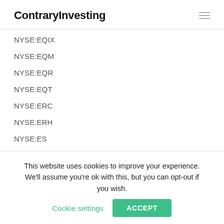ContraryInvesting
NYSE:EQIX
NYSE:EQM
NYSE:EQR
NYSE:EQT
NYSE:ERC
NYSE:ERH
NYSE:ES
NYSE:ESS
This website uses cookies to improve your experience. We'll assume you're ok with this, but you can opt-out if you wish. Cookie settings ACCEPT